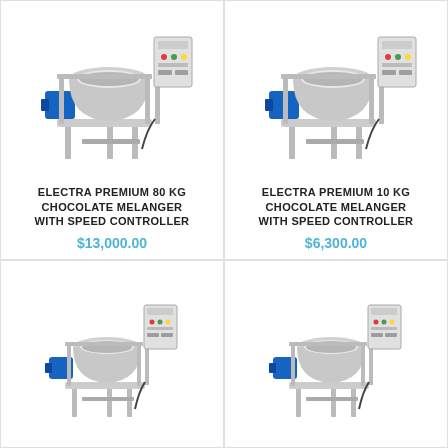[Figure (photo): Industrial chocolate melanger machine with stainless steel bowl, blue motor, and electronic control panel on stand]
ELECTRA PREMIUM 80 KG CHOCOLATE MELANGER WITH SPEED CONTROLLER
$13,000.00
[Figure (photo): Industrial chocolate melanger machine with stainless steel bowl, blue motor, and electronic control panel on stand]
ELECTRA PREMIUM 10 KG CHOCOLATE MELANGER WITH SPEED CONTROLLER
$6,300.00
[Figure (photo): Smaller chocolate melanger machine with stainless steel bowl, blue motor, and electronic control panel on stand]
[Figure (photo): Smaller chocolate melanger machine with stainless steel bowl, blue motor, and electronic control panel on stand]